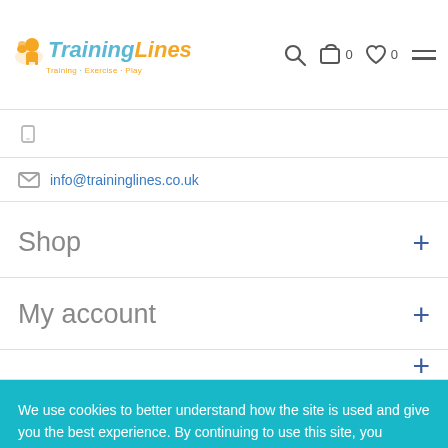[Figure (logo): TrainingLines logo with lion icon, blue and orange text, tagline Training · Exercise · Play]
info@traininglines.co.uk
Shop +
My account +
We use cookies to better understand how the site is used and give you the best experience. By continuing to use this site, you consent to our Cookie Policy. Click to learn more